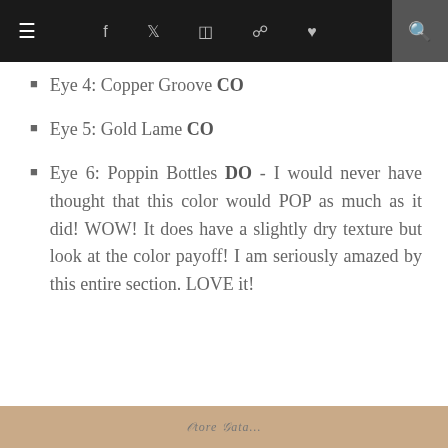≡  f  ✓  ☷  ⊕  ♥  🔍
Eye 4: Copper Groove CO
Eye 5: Gold Lame CO
Eye 6: Poppin Bottles DO - I would never have thought that this color would POP as much as it did! WOW! It does have a slightly dry texture but look at the color payoff! I am seriously amazed by this entire section. LOVE it!
[Figure (photo): Bottom strip showing partially visible decorative/product image with tan/beige background and cursive text]